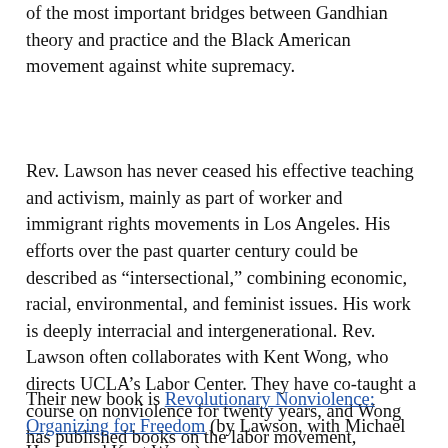of the most important bridges between Gandhian theory and practice and the Black American movement against white supremacy.
Rev. Lawson has never ceased his effective teaching and activism, mainly as part of worker and immigrant rights movements in Los Angeles. His efforts over the past quarter century could be described as “intersectional,” combining economic, racial, environmental, and feminist issues. His work is deeply interracial and intergenerational. Rev. Lawson often collaborates with Kent Wong, who directs UCLA’s Labor Center. They have co-taught a course on nonviolence for twenty years, and Wong has published books on the labor movement, immigrant rights, and the Asian American community.
Their new book is Revolutionary Nonviolence: Organizing for Freedom (by Lawson, with Michael Honey and Kent Wong).